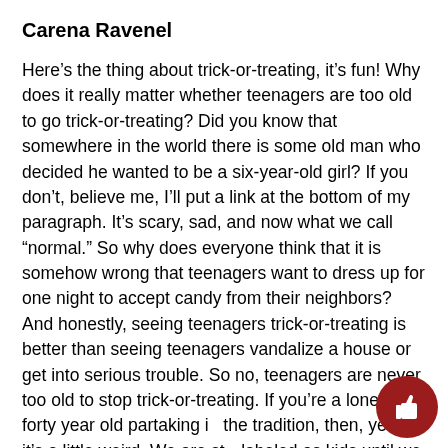Carena Ravenel
Here’s the thing about trick-or-treating, it’s fun! Why does it really matter whether teenagers are too old to go trick-or-treating? Did you know that somewhere in the world there is some old man who decided he wanted to be a six-year-old girl? If you don’t, believe me, I’ll put a link at the bottom of my paragraph. It’s scary, sad, and now what we call “normal.” So why does everyone think that it is somehow wrong that teenagers want to dress up for one night to accept candy from their neighbors? And honestly, seeing teenagers trick-or-treating is better than seeing teenagers vandalize a house or get into serious trouble. So no, teenagers are never too old to stop trick-or-treating. If you’re a lonely forty year old partaking in the tradition, then, yeah it’s a little weird. We are still labeled as kids until we are about twenty or might as